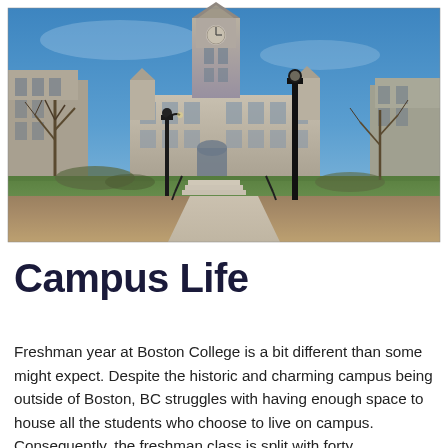[Figure (photo): A photograph of a historic Gothic-style college building (Boston College) with a tall clock tower, stone facade, green lawn, steps and walkway leading to entrance, bare trees on either side, black lamp posts in foreground, under a clear blue sky.]
Campus Life
Freshman year at Boston College is a bit different than some might expect. Despite the historic and charming campus being outside of Boston, BC struggles with having enough space to house all the students who choose to live on campus. Consequently, the freshman class is split with forty